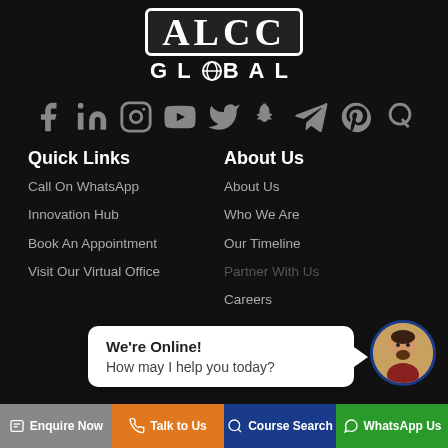[Figure (logo): ALCC Global logo — bold serif letters in white box, with GLOBAL text below]
[Figure (infographic): Row of social media icons: Facebook, LinkedIn, Instagram, YouTube, Twitter, Snapchat, Telegram, Pinterest, Quora — all in grey]
Quick Links
Call On WhatsApp
Innovation Hub
Book An Appointment
Visit Our Virtual Office
About Us
About Us
Who We Are
Our Timeline
Partner With Us
Careers
[Figure (screenshot): Chat widget popup saying 'We're Online! How may I help you today?' with avatar]
Enquire Now | Talk to Us | Course Search | WhatsApp Us